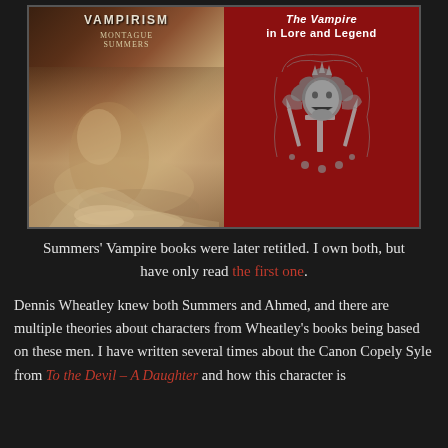[Figure (photo): Two book covers side by side. Left: 'Vampirism' by Montague Summers, with a dark painterly cover showing a reclining figure. Right: 'The Vampire in Lore and Legend' with a red background and an ornate black and white emblem featuring a face with wings and cross-like decorations.]
Summers' Vampire books were later retitled. I own both, but have only read the first one.
Dennis Wheatley knew both Summers and Ahmed, and there are multiple theories about characters from Wheatley's books being based on these men. I have written several times about the Canon Copely Syle from To the Devil – A Daughter and how this character is